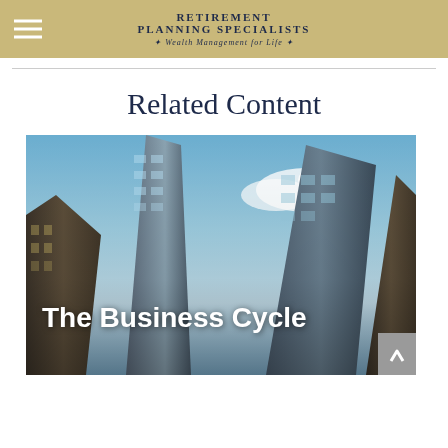RETIREMENT PLANNING SPECIALISTS • Wealth Management for Life •
Related Content
[Figure (photo): Upward-angle photo of tall city skyscraper buildings against a blue sky with clouds. Overlaid bold white text reads 'The Business Cycle'. A gray scroll-to-top arrow button appears in the bottom-right corner.]